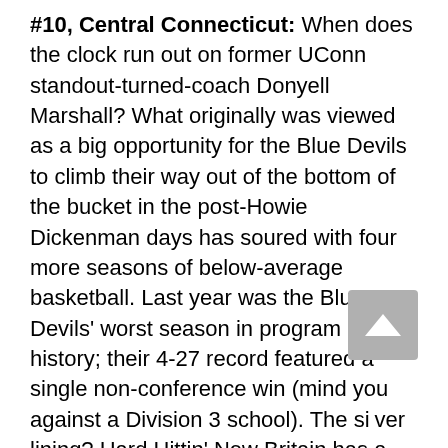#10, Central Connecticut: When does the clock run out on former UConn standout-turned-coach Donyell Marshall? What originally was viewed as a big opportunity for the Blue Devils to climb their way out of the bottom of the bucket in the post-Howie Dickenman days has soured with four more seasons of below-average basketball. Last year was the Blue Devils' worst season in program history; their 4-27 record featured a single non-conference win (mind you against a Division 3 school). The silver lining? Hard Hittin' New Britain has a very young core, and brings back virtually every starter they had in 2020-21. Look for sophomores Greg...